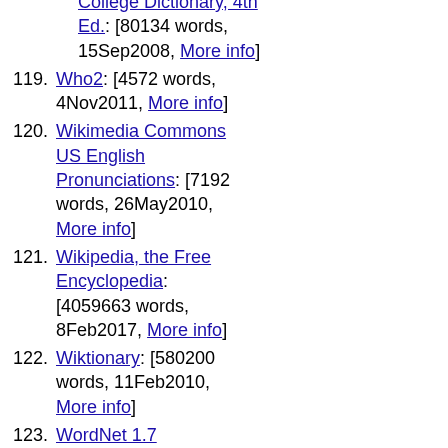College Dictionary, 4th Ed.: [80134 words, 15Sep2008, More info]
119. Who2: [4572 words, 4Nov2011, More info]
120. Wikimedia Commons US English Pronunciations: [7192 words, 26May2010, More info]
121. Wikipedia, the Free Encyclopedia: [4059663 words, 8Feb2017, More info]
122. Wiktionary: [580200 words, 11Feb2010, More info]
123. WordNet 1.7 Vocabulary Helper: [119160 words, 2Aug2003, More info]
124. Wordnik: [968210 words, 24Aug2010, More info]
125. World Wide Words: